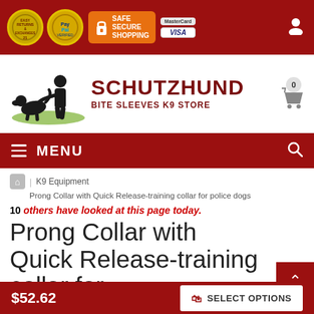SAFE SECURE SHOPPING | PayPal Verified | Easy Returns & Exchanges | MasterCard | VISA
[Figure (logo): Schutzhund Bite Sleeves K9 Store logo with silhouette of dog trainer and dog]
SCHUTZHUND BITE SLEEVES K9 STORE
MENU
Home > K9 Equipment > Prong Collar with Quick Release-training collar for police dogs
10 others have looked at this page today.
Prong Collar with Quick Release-training collar for
$52.62  SELECT OPTIONS